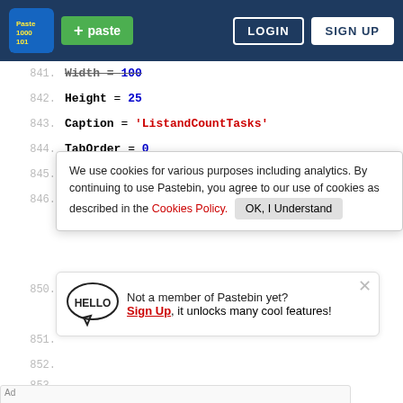+ paste   LOGIN   SIGN UP
841.   Width = 100
842.   Height = 25
843.   Caption = 'ListandCountTasks'
844.   TabOrder = 0
845.   OnClick = ListandCountTasksClick
846.   end
850.   Width = 383
851.
852.
853.
We use cookies for various purposes including analytics. By continuing to use Pastebin, you agree to our use of cookies as described in the Cookies Policy. OK, I Understand
Not a member of Pastebin yet? Sign Up, it unlocks many cool features!
[Figure (screenshot): Ad banner for 'They Are Coming!' game by Rollic. Shows wooden surface image, purple app icon, game title, and Download button.]